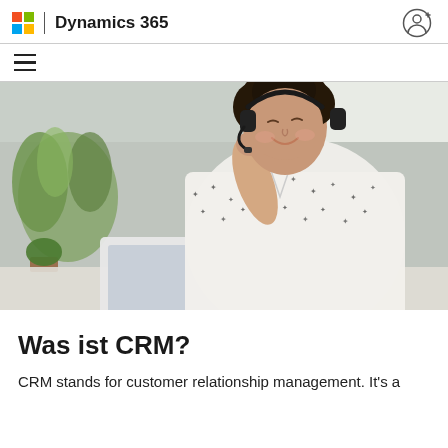Microsoft | Dynamics 365
[Figure (photo): A woman with curly hair wearing a headset and a patterned blouse, smiling while working at a laptop with a coffee mug on the desk. Indoor setting with plants in the background.]
Was ist CRM?
CRM stands for customer relationship management. It's a